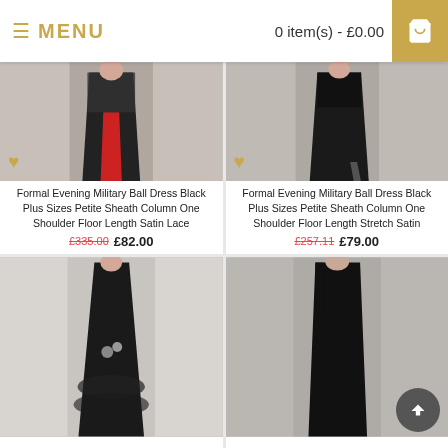MENU   0 item(s) - £0.00
[Figure (photo): Formal evening gown, black and red, one shoulder design]
Formal Evening Military Ball Dress Black Plus Sizes Petite Sheath Column One Shoulder Floor Length Satin Lace
£335.00  £82.00
[Figure (photo): Formal evening gown, black, one shoulder with slit]
Formal Evening Military Ball Dress Black Plus Sizes Petite Sheath Column One Shoulder Floor Length Stretch Satin
£257.11  £79.00
[Figure (photo): Black formal dress with ruffled skirt and floral detail]
[Figure (photo): Black formal one shoulder gown, model standing]